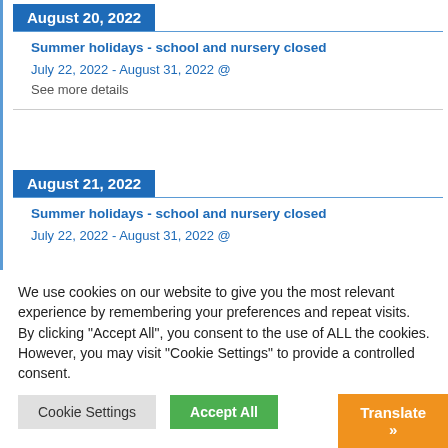August 20, 2022
Summer holidays - school and nursery closed
July 22, 2022 - August 31, 2022 @
See more details
August 21, 2022
Summer holidays - school and nursery closed
July 22, 2022 - August 31, 2022 @
We use cookies on our website to give you the most relevant experience by remembering your preferences and repeat visits. By clicking “Accept All”, you consent to the use of ALL the cookies. However, you may visit “Cookie Settings” to provide a controlled consent.
Cookie Settings
Accept All
Translate »